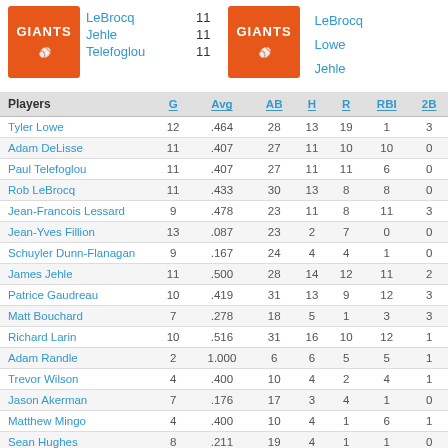[Figure (logo): San Francisco Giants logo (orange rectangle with GIANTS text)]
LeBrocq 11
Jehle 11
Telefoglou 11
[Figure (logo): San Francisco Giants logo (orange rectangle with GIANTS text)]
LeBrocq
Lowe
Jehle
| Players | G | Avg | AB | H | R | RBI | 2B |
| --- | --- | --- | --- | --- | --- | --- | --- |
| Tyler Lowe | 12 | .464 | 28 | 13 | 19 | 1 | 3 |
| Adam DeLisse | 11 | .407 | 27 | 11 | 10 | 10 | 0 |
| Paul Telefoglou | 11 | .407 | 27 | 11 | 11 | 6 | 0 |
| Rob LeBrocq | 11 | .433 | 30 | 13 | 8 | 8 | 0 |
| Jean-Francois Lessard | 9 | .478 | 23 | 11 | 8 | 11 | 3 |
| Jean-Yves Fillion | 13 | .087 | 23 | 2 | 7 | 0 | 0 |
| Schuyler Dunn-Flanagan | 9 | .167 | 24 | 4 | 4 | 1 | 0 |
| James Jehle | 11 | .500 | 28 | 14 | 12 | 11 | 2 |
| Patrice Gaudreau | 10 | .419 | 31 | 13 | 9 | 12 | 3 |
| Matt Bouchard | 7 | .278 | 18 | 5 | 1 | 3 | 3 |
| Richard Larin | 10 | .516 | 31 | 16 | 10 | 12 | 1 |
| Adam Randle | 2 | 1.000 | 6 | 6 | 5 | 5 | 1 |
| Trevor Wilson | 4 | .400 | 10 | 4 | 2 | 4 | 1 |
| Jason Akerman | 7 | .176 | 17 | 3 | 4 | 1 | 0 |
| Matthew Mingo | 4 | .400 | 10 | 4 | 1 | 6 | 1 |
| Sean Hughes | 8 | .211 | 19 | 4 | 1 | 1 | 0 |
| Liam Twomey | 1 | .333 | 3 | 1 | 1 | 1 | 0 |